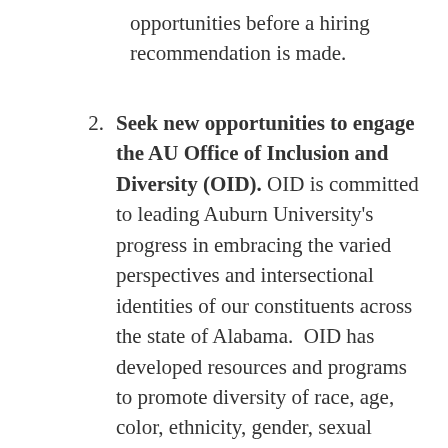opportunities before a hiring recommendation is made.
2. Seek new opportunities to engage the AU Office of Inclusion and Diversity (OID). OID is committed to leading Auburn University's progress in embracing the varied perspectives and intersectional identities of our constituents across the state of Alabama.  OID has developed resources and programs to promote diversity of race, age, color, ethnicity, gender, sexual orientation, gender identity, gender expression, religion, ...